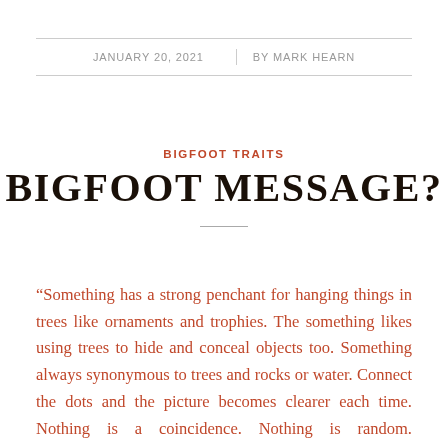JANUARY 20, 2021 | BY MARK HEARN
BIGFOOT TRAITS
BIGFOOT MESSAGE?
“Something has a strong penchant for hanging things in trees like ornaments and trophies. The something likes using trees to hide and conceal objects too. Something always synonymous to trees and rocks or water. Connect the dots and the picture becomes clearer each time. Nothing is a coincidence. Nothing is random. Everything has meaning. This is